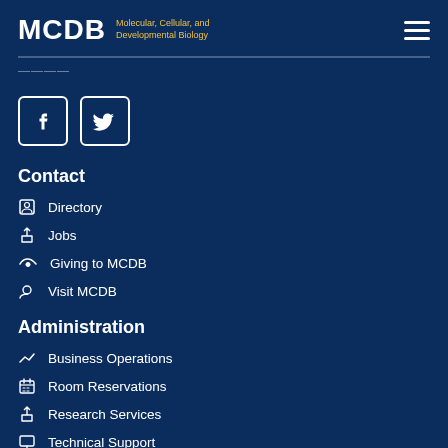MCDB Molecular, Cellular, and Developmental Biology
MCDB — [navigation bar faded]
[Figure (illustration): Facebook and Twitter social media icon buttons, white icons in rounded square borders on dark blue background]
Contact
Directory
Jobs
Giving to MCDB
Visit MCDB
Administration
Business Operations
Room Reservations
Research Services
Technical Support
Website
Information
Terms of Use
Privacy